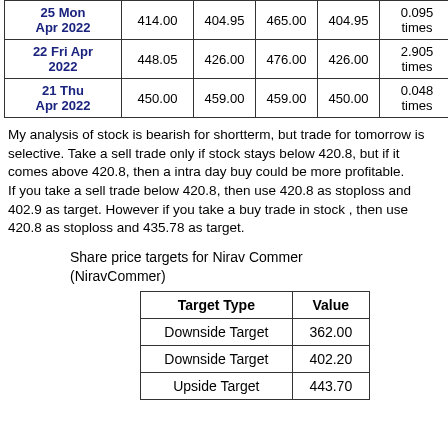| Date | Price | Open | High | Low | Volume |
| --- | --- | --- | --- | --- | --- |
| 25 Mon Apr 2022 | 414.00 | 404.95 | 465.00 | 404.95 | 0.095 times |
| 22 Fri Apr 2022 | 448.05 | 426.00 | 476.00 | 426.00 | 2.905 times |
| 21 Thu Apr 2022 | 450.00 | 459.00 | 459.00 | 450.00 | 0.048 times |
My analysis of stock is bearish for shortterm, but trade for tomorrow is selective. Take a sell trade only if stock stays below 420.8, but if it comes above 420.8, then a intra day buy could be more profitable. If you take a sell trade below 420.8, then use 420.8 as stoploss and 402.9 as target. However if you take a buy trade in stock , then use 420.8 as stoploss and 435.78 as target.
Share price targets for Nirav Commer (NiravCommer)
| Target Type | Value |
| --- | --- |
| Downside Target | 362.00 |
| Downside Target | 402.20 |
| Upside Target | 443.70 |